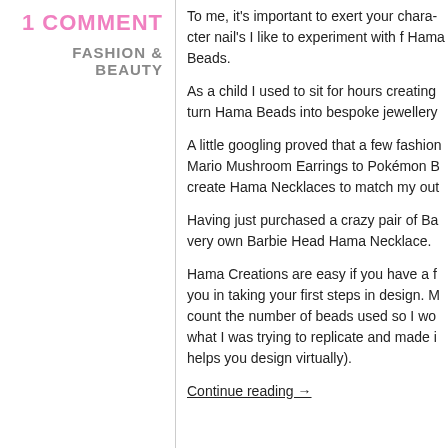1 COMMENT
FASHION & BEAUTY
To me, it's important to exert your character nail's I like to experiment with Hama Beads.
As a child I used to sit for hours creating turn Hama Beads into bespoke jewellery
A little googling proved that a few fashion Mario Mushroom Earrings to Pokémon B create Hama Necklaces to match my out
Having just purchased a crazy pair of Ba very own Barbie Head Hama Necklace.
Hama Creations are easy if you have a f you in taking your first steps in design. M count the number of beads used so I wo what I was trying to replicate and made i helps you design virtually).
Continue reading →